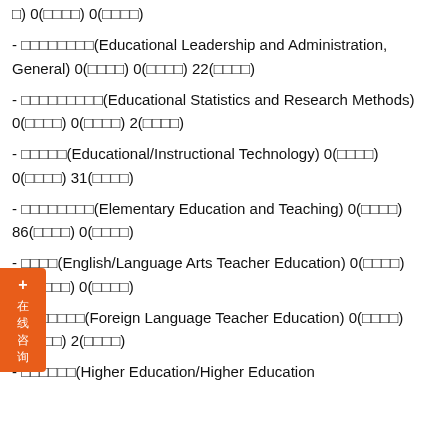□) 0(□□□□) 0(□□□□)
- □□□□□□□□(Educational Leadership and Administration, General) 0(□□□□) 0(□□□□) 22(□□□□)
- □□□□□□□□□(Educational Statistics and Research Methods) 0(□□□□) 0(□□□□) 2(□□□□)
- □□□□□(Educational/Instructional Technology) 0(□□□□) 0(□□□□) 31(□□□□)
- □□□□□□□□(Elementary Education and Teaching) 0(□□□□) 86(□□□□) 0(□□□□)
- □□□□(English/Language Arts Teacher Education) 0(□□□□) 22(□□□□) 0(□□□□)
- □□□□□□□(Foreign Language Teacher Education) 0(□□□□) 0(□□□□) 2(□□□□)
- □□□□□□(Higher Education/Higher Education